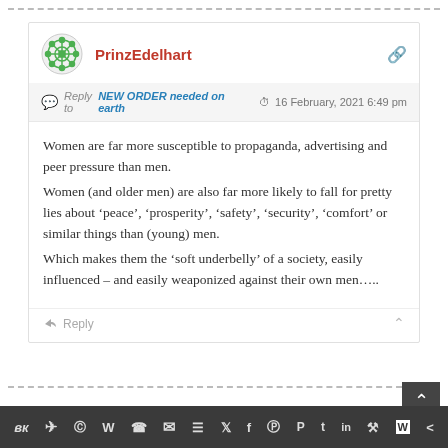PrinzEdelhart
Reply to NEW ORDER needed on earth — 16 February, 2021 6:49 pm
Women are far more susceptible to propaganda, advertising and peer pressure than men.
Women (and older men) are also far more likely to fall for pretty lies about ‘peace’, ‘prosperity’, ‘safety’, ‘security’, ‘comfort’ or similar things than (young) men.
Which makes them the ‘soft underbelly’ of a society, easily influenced – and easily weaponized against their own men…..
Reply